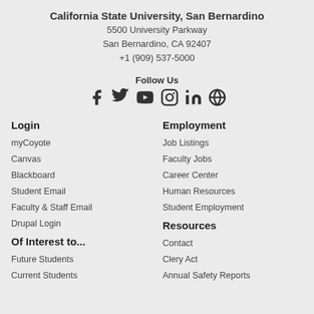California State University, San Bernardino
5500 University Parkway
San Bernardino, CA 92407
+1 (909) 537-5000
Follow Us
[Figure (infographic): Social media icons: Facebook, Twitter, YouTube, Instagram, LinkedIn, Globe/Web]
Login
myCoyote
Canvas
Blackboard
Student Email
Faculty & Staff Email
Drupal Login
Of Interest to...
Future Students
Current Students
Employment
Job Listings
Faculty Jobs
Career Center
Human Resources
Student Employment
Resources
Contact
Clery Act
Annual Safety Reports